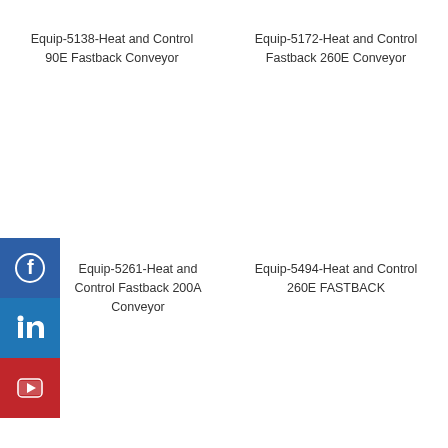Equip-5138-Heat and Control 90E Fastback Conveyor
Equip-5172-Heat and Control Fastback 260E Conveyor
[Figure (other): Social media icons: Facebook, LinkedIn, YouTube]
Equip-5261-Heat and Control Fastback 200A Conveyor
Equip-5494-Heat and Control 260E FASTBACK